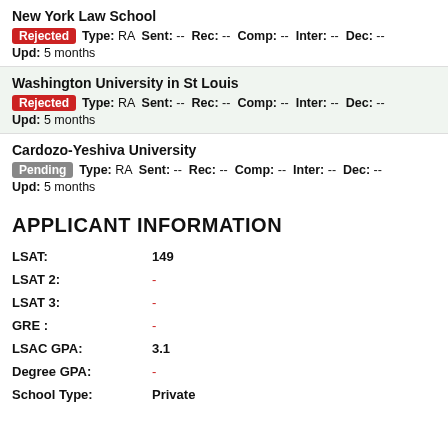New York Law School
Rejected  Type: RA  Sent: --  Rec: --  Comp: --  Inter: --  Dec: --
Upd: 5 months
Washington University in St Louis
Rejected  Type: RA  Sent: --  Rec: --  Comp: --  Inter: --  Dec: --
Upd: 5 months
Cardozo-Yeshiva University
Pending  Type: RA  Sent: --  Rec: --  Comp: --  Inter: --  Dec: --
Upd: 5 months
APPLICANT INFORMATION
| Field | Value |
| --- | --- |
| LSAT: | 149 |
| LSAT 2: | - |
| LSAT 3: | - |
| GRE : | - |
| LSAC GPA: | 3.1 |
| Degree GPA: | - |
| School Type: | Private |